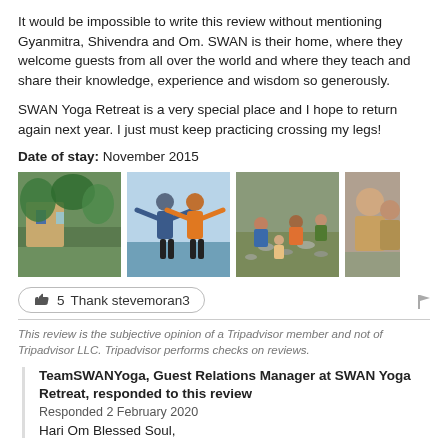It would be impossible to write this review without mentioning Gyanmitra, Shivendra and Om. SWAN is their home, where they welcome guests from all over the world and where they teach and share their knowledge, experience and wisdom so generously.
SWAN Yoga Retreat is a very special place and I hope to return again next year. I just must keep practicing crossing my legs!
Date of stay: November 2015
[Figure (photo): Four photos in a row: tropical garden/building exterior, two people posing with arms outstretched outdoors, group of people working on ground with rocks, partial view of people.]
👍 5  Thank stevemoran3
This review is the subjective opinion of a Tripadvisor member and not of Tripadvisor LLC. Tripadvisor performs checks on reviews.
TeamSWANYoga, Guest Relations Manager at SWAN Yoga Retreat, responded to this review
Responded 2 February 2020
Hari Om Blessed Soul,